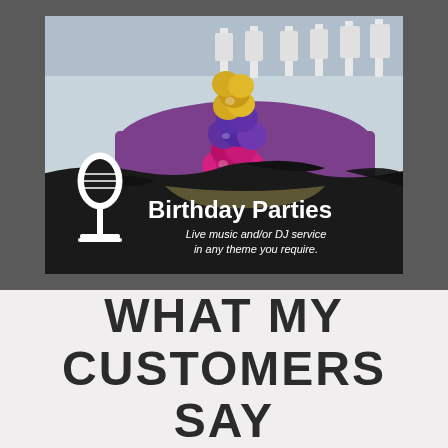[Figure (photo): Birthday party promotional image showing a decorated table with purple tablecloth and colorful stacked balloon centerpiece (gold, purple, pink), white chairs in background, with a microphone icon on the left and text overlay reading 'Birthday Parties - Live music and/or DJ service in any theme you require.' on a dark splash background.]
WHAT MY CUSTOMERS SAY